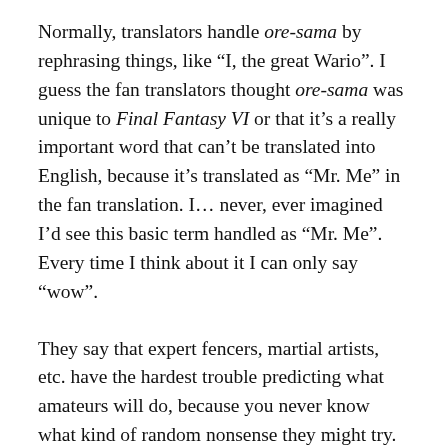Normally, translators handle ore-sama by rephrasing things, like “I, the great Wario”. I guess the fan translators thought ore-sama was unique to Final Fantasy VI or that it’s a really important word that can’t be translated into English, because it’s translated as “Mr. Me” in the fan translation. I… never, ever imagined I’d see this basic term handled as “Mr. Me”. Every time I think about it I can only say “wow”.
They say that expert fencers, martial artists, etc. have the hardest trouble predicting what amateurs will do, because you never know what kind of random nonsense they might try. That’s exactly the same deal here – I never would’ve expected anyone to translate ore-sama this way. Indeed, even in translation, the amateur is formidably unpredictable!